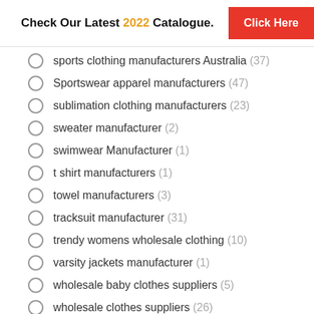Check Our Latest 2022 Catalogue. Click Here
sports clothing manufacturers Australia (37)
Sportswear apparel manufacturers (47)
sublimation clothing manufacturers (23)
sweater manufacturer (2)
swimwear Manufacturer (1)
t shirt manufacturers (1)
towel manufacturers (3)
tracksuit manufacturer (31)
trendy womens wholesale clothing (10)
varsity jackets manufacturer (1)
wholesale baby clothes suppliers (5)
wholesale clothes suppliers (26)
wholesale clothing distribution (9)